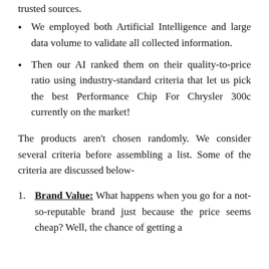We employed both Artificial Intelligence and large data volume to validate all collected information.
Then our AI ranked them on their quality-to-price ratio using industry-standard criteria that let us pick the best Performance Chip For Chrysler 300c currently on the market!
The products aren't chosen randomly. We consider several criteria before assembling a list. Some of the criteria are discussed below-
Brand Value: What happens when you go for a not-so-reputable brand just because the price seems cheap? Well, the chance of getting a